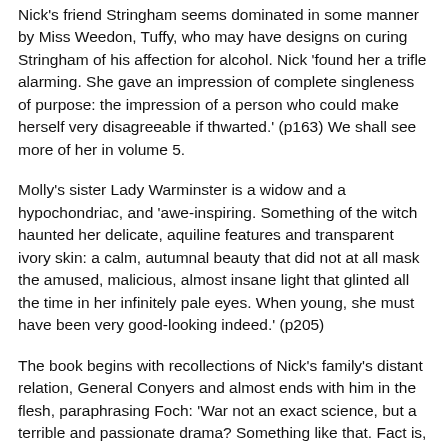Nick's friend Stringham seems dominated in some manner by Miss Weedon, Tuffy, who may have designs on curing Stringham of his affection for alcohol. Nick 'found her a trifle alarming. She gave an impression of complete singleness of purpose: the impression of a person who could make herself very disagreeable if thwarted.' (p163) We shall see more of her in volume 5.
Molly's sister Lady Warminster is a widow and a hypochondriac, and 'awe-inspiring. Something of the witch haunted her delicate, aquiline features and transparent ivory skin: a calm, autumnal beauty that did not at all mask the amused, malicious, almost insane light that glinted all the time in her infinitely pale eyes. When young, she must have been very good-looking indeed.' (p205)
The book begins with recollections of Nick's family's distant relation, General Conyers and almost ends with him in the flesh, paraphrasing Foch: 'War not an exact science, but a terrible and passionate drama? Something like that. Fact is, marriage is rather like that too.'
'Which…